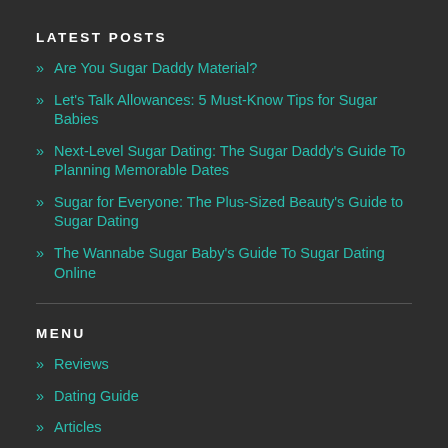LATEST POSTS
Are You Sugar Daddy Material?
Let's Talk Allowances: 5 Must-Know Tips for Sugar Babies
Next-Level Sugar Dating: The Sugar Daddy's Guide To Planning Memorable Dates
Sugar for Everyone: The Plus-Sized Beauty's Guide to Sugar Dating
The Wannabe Sugar Baby's Guide To Sugar Dating Online
MENU
Reviews
Dating Guide
Articles